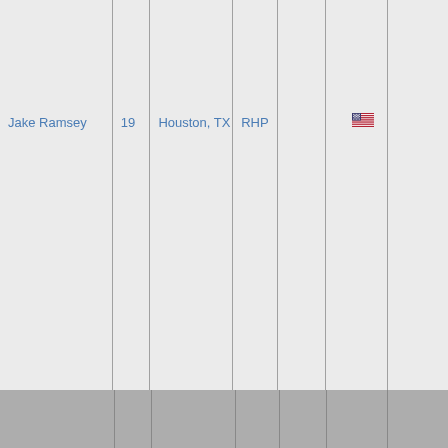| Jake Ramsey | 19 | Houston, TX | RHP |  |  | 🇺🇸 |